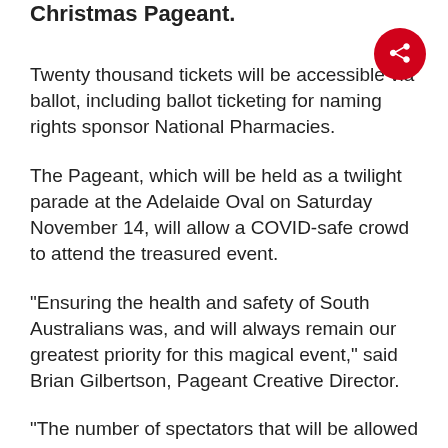Christmas Pageant.
Twenty thousand tickets will be accessible via ballot, including ballot ticketing for naming rights sponsor National Pharmacies.
The Pageant, which will be held as a twilight parade at the Adelaide Oval on Saturday November 14, will allow a COVID-safe crowd to attend the treasured event.
“Ensuring the health and safety of South Australians was, and will always remain our greatest priority for this magical event,” said Brian Gilbertson, Pageant Creative Director.
“The number of spectators that will be allowed to attend the event has been determined as a